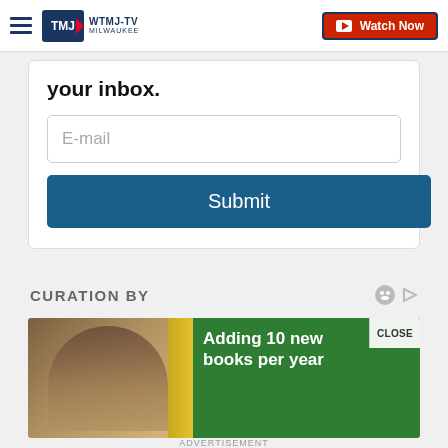WTMJ-TV MILWAUKEE | Watch Now
your inbox.
E-mail
Submit
CURATION BY
[Figure (photo): Advertisement banner showing a child reading with green overlay text: Adding 10 new books per year, to build a home library is an equation. Close button visible.]
ADVERTISEMENT